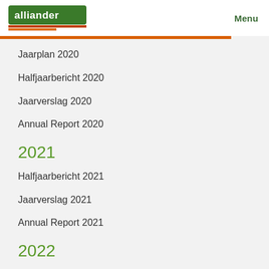alliander | Menu
Jaarplan 2020
Halfjaarbericht 2020
Jaarverslag 2020
Annual Report 2020
2021
Halfjaarbericht 2021
Jaarverslag 2021
Annual Report 2021
2022
Halfjaarbericht 2022
Contact